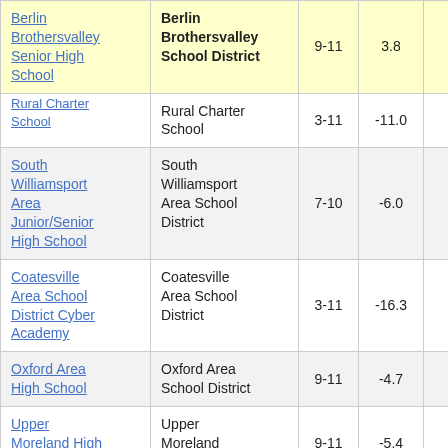| School | District | Grades | Score |  |
| --- | --- | --- | --- | --- |
| Berlin Brothersvalley Senior High School | Berlin Brothersvalley School District | 9-11 | 3.8 |  |
| [Leggett?] Rural Charter School | Rural Charter School | 3-11 | -11.0 |  |
| South Williamsport Area Junior/Senior High School | South Williamsport Area School District | 7-10 | -6.0 |  |
| Coatesville Area School District Cyber Academy | Coatesville Area School District | 3-11 | -16.3 |  |
| Oxford Area High School | Oxford Area School District | 9-11 | -4.7 |  |
| Upper Moreland High School | Upper Moreland Township | 9-11 | -5.4 |  |